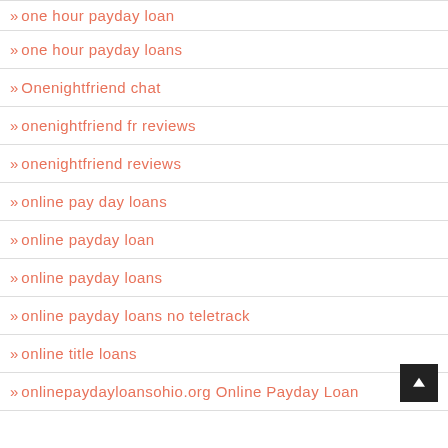one hour payday loan
one hour payday loans
Onenightfriend chat
onenightfriend fr reviews
onenightfriend reviews
online pay day loans
online payday loan
online payday loans
online payday loans no teletrack
online title loans
onlinepaydayloansohio.org Online Payday Loan